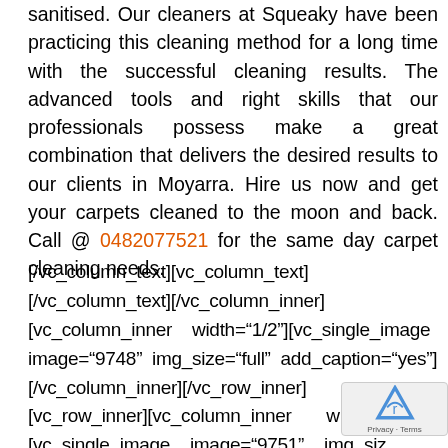sanitised. Our cleaners at Squeaky have been practicing this cleaning method for a long time with the successful cleaning results. The advanced tools and right skills that our professionals possess make a great combination that delivers the desired results to our clients in Moyarra. Hire us now and get your carpets cleaned to the moon and back. Call @ 0482077521 for the same day carpet cleaning needs.
[/vc_column_text][vc_column_text] [/vc_column_text][/vc_column_inner] [vc_column_inner width="1/2"][vc_single_image image="9748" img_size="full" add_caption="yes"] [/vc_column_inner][/vc_row_inner] [vc_row_inner][vc_column_inner width="1/2"] [vc_single_image image="9751" img_size add_caption="yes"][/vc_column_inner]